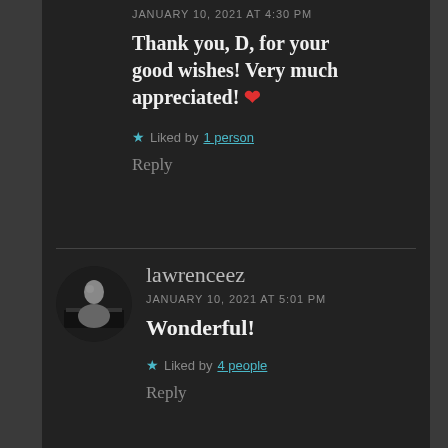JANUARY 10, 2021 AT 4:30 PM
Thank you, D, for your good wishes! Very much appreciated! ❤
★ Liked by 1 person
Reply
lawrenceez
JANUARY 10, 2021 AT 5:01 PM
Wonderful!
★ Liked by 4 people
Reply